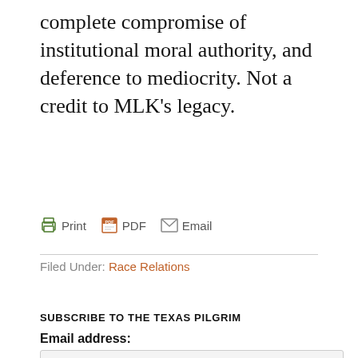complete compromise of institutional moral authority, and deference to mediocrity. Not a credit to MLK's legacy.
[Figure (other): Print, PDF, Email action icons row]
Filed Under: Race Relations
SUBSCRIBE TO THE TEXAS PILGRIM
Email address:
[Figure (other): Email address input field with placeholder text 'Your email address']